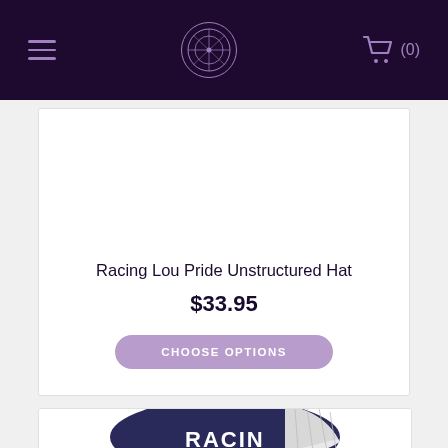Navigation bar with hamburger menu, logo, and cart (0)
Racing Lou Pride Unstructured Hat
$33.95
CHOOSE OPTIONS
[Figure (photo): Navy and white trucker hat with 'RACING' text visible on front panel, partially cropped at bottom of page]